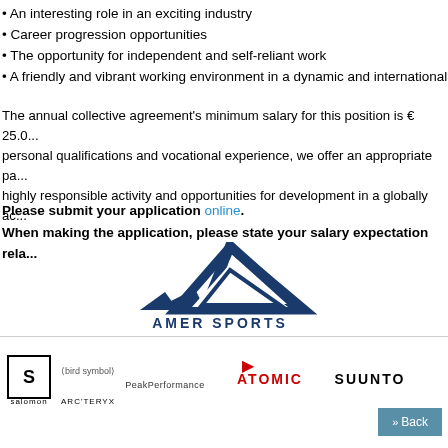• An interesting role in an exciting industry
• Career progression opportunities
• The opportunity for independent and self-reliant work
• A friendly and vibrant working environment in a dynamic and international t...
The annual collective agreement's minimum salary for this position is € 25.0... personal qualifications and vocational experience, we offer an appropriate pa... highly responsible activity and opportunities for development in a globally ac...
Please submit your application online. When making the application, please state your salary expectation rela...
[Figure (logo): Amer Sports logo — dark blue stylized shark fin / angular shape with AMER SPORTS text below]
[Figure (logo): Brand logos row: Salomon, Arc'teryx, Peak Performance, Atomic, Suunto]